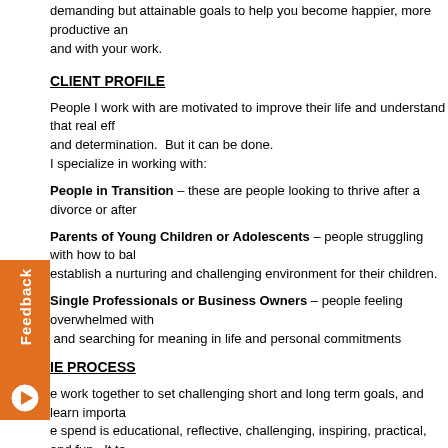demanding but attainable goals to help you become happier, more productive and with your work.
CLIENT PROFILE
People I work with are motivated to improve their life and understand that real eff and determination. But it can be done.
I specialize in working with:
People in Transition – these are people looking to thrive after a divorce or after
Parents of Young Children or Adolescents – people struggling with how to balance establish a nurturing and challenging environment for their children.
Single Professionals or Business Owners – people feeling overwhelmed with and searching for meaning in life and personal commitments
IE PROCESS
e work together to set challenging short and long term goals, and learn importa e spend is educational, reflective, challenging, inspiring, practical, and fun. It ta cause changing habits and developing new ones takes time. Just like dieting d esn't help if you don't follow up and do it.
So include me as a coaching partner to enhance your life. It is glorious and exhila